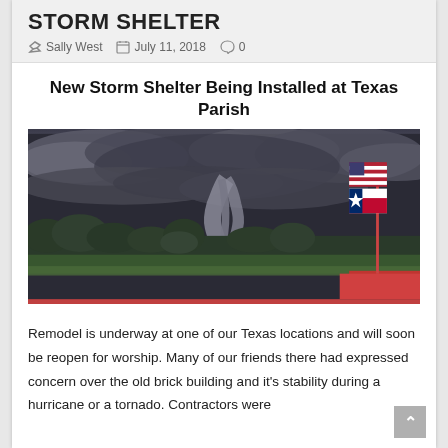STORM SHELTER
Sally West   July 11, 2018   0
New Storm Shelter Being Installed at Texas Parish
[Figure (photo): Photograph of a large tornado in the distance over a flat landscape with trees, with an American flag and Texas state flag on a flagpole on the right side. The sky is dark and stormy with dramatic clouds.]
Remodel is underway at one of our Texas locations and will soon be reopen for worship. Many of our friends there had expressed concern over the old brick building and it's stability during a hurricane or a tornado. Contractors were